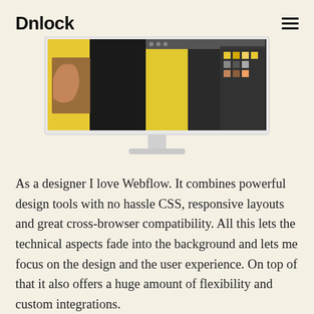Unlock
[Figure (screenshot): A desktop monitor displaying a Webflow design interface with a colorful graphic on screen including a hand and yellow background, and a color palette panel on the right side.]
As a designer I love Webflow. It combines powerful design tools with no hassle CSS, responsive layouts and great cross-browser compatibility. All this lets the technical aspects fade into the background and lets me focus on the design and the user experience. On top of that it also offers a huge amount of flexibility and custom integrations.
When I looked into integrating Unlock I had a feeling it would be possible but I got super excited when I